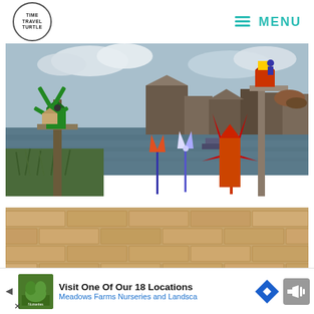TIME TRAVEL TURTLE | MENU
[Figure (photo): Windmill decorations and colorful pinwheel toys in front of a waterway with buildings in the background, cloudy sky]
[Figure (photo): Close-up of a sandy limestone brick wall]
Visit One Of Our 18 Locations
Meadows Farms Nurseries and Landsca...